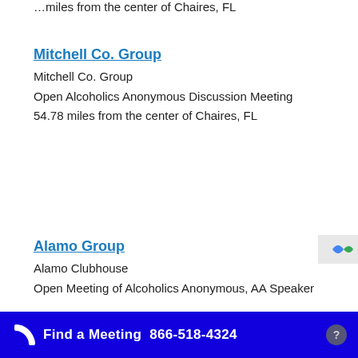…miles from the center of Chaires, FL
Mitchell Co. Group
Mitchell Co. Group
Open Alcoholics Anonymous Discussion Meeting
54.78 miles from the center of Chaires, FL
Alamo Group
Alamo Clubhouse
Open Meeting of Alcoholics Anonymous, AA Speaker
Find a Meeting  866-518-4324